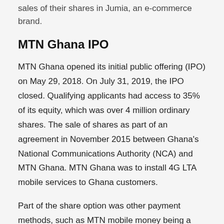sales of their shares in Jumia, an e-commerce brand.
MTN Ghana IPO
MTN Ghana opened its initial public offering (IPO) on May 29, 2018. On July 31, 2019, the IPO closed. Qualifying applicants had access to 35% of its equity, which was over 4 million ordinary shares. The sale of shares as part of an agreement in November 2015 between Ghana's National Communications Authority (NCA) and MTN Ghana. MTN Ghana was to install 4G LTA mobile services to Ghana customers.
Part of the share option was other payment methods, such as MTN mobile money being a payment option for the MTN share offer subscription. It was the first time an IPO had mobile money as a payment method.